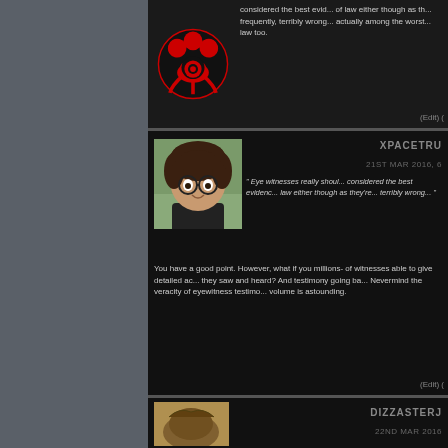considered the best evid... of law either though as th... frequently, terribly wrong... actually among the worst... law too.
(Edit) (
XPACETRU
21ST MAR 2016, 6
" Eye witnesses really should... considered the best evidenc... law either though as they're... terribly wrong... "
You have a good point. However, what if you millions- of witnesses able to give detailed ac... they saw and heard? And testimony going ba... Nevermind the veracity of eyewitness testimo... volume is astounding.
(Edit) (
DIZZASTERJ
22ND MAR 2016